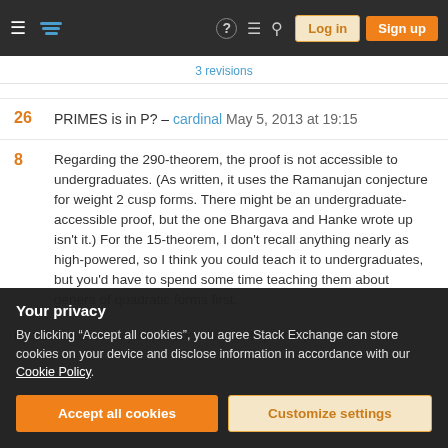Stack Exchange navigation bar with hamburger menu, logo, help, chat, search, Log in, Sign up buttons
3 revisions
26  PRIMES is in P? – cardinal  May 5, 2013 at 19:15
8  Regarding the 290-theorem, the proof is not accessible to undergraduates. (As written, it uses the Ramanujan conjecture for weight 2 cusp forms. There might be an undergraduate-accessible proof, but the one Bhargava and Hanke wrote up isn't it.) For the 15-theorem, I don't recall anything nearly as high-powered, so I think you could teach it to undergraduates, but you'd have to spend some time teaching them about genera of quadratic forms first.
Your privacy
By clicking "Accept all cookies", you agree Stack Exchange can store cookies on your device and disclose information in accordance with our Cookie Policy.
Accept all cookies
Customize settings
in mathematics? My impression is that its primary